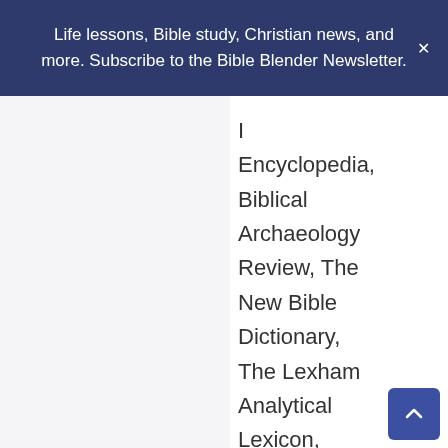Life lessons, Bible study, Christian news, and more. Subscribe to the Bible Blender Newsletter.
I Encyclopedia, Biblical Archaeology Review, The New Bible Dictionary, The Lexham Analytical Lexicon, Glossary of Morpho-